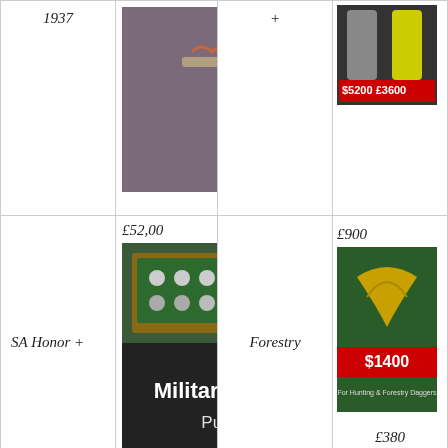1937
[Figure (photo): Photo of a military dagger/sword with decorative handle on purple background]
+
[Figure (photo): Small thumbnail showing price tags $5200 £3600]
SA Honor +
£52,00
[Figure (photo): Military Antiques shop advertisement: Military Antiques Purchased OPEN 7 DAYS SUSSEX]
Forestry
£900
[Figure (photo): Small thumbnail showing $1400 Paid for Hunting & Forestry Daggers]
SA High Leader
£25,000
[Figure (photo): Photo of a silver chain necklace on dark background]
Hunting Official –
£1,300
[Figure (photo): Small thumbnail showing $1400 price tag on gold/brown item]
£380
£1,500